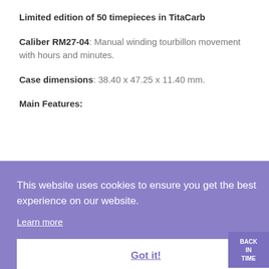Limited edition of 50 timepieces in TitaCarb
Caliber RM27-04: Manual winding tourbillon movement with hours and minutes.
Case dimensions: 38.40 x 47.25 x 11.40 mm.
Main Features:
This website uses cookies to ensure you get the best experience on our website. Learn more Got it!
guarantees the perfect functioning of the gear